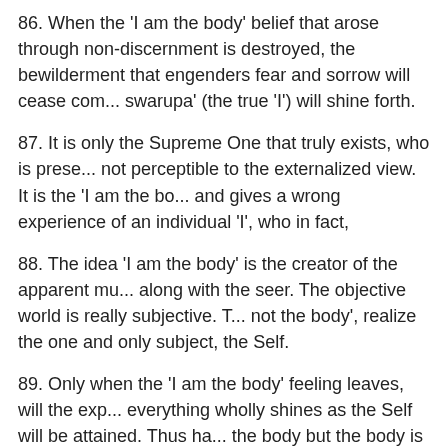86. When the 'I am the body' belief that arose through non-discernment is destroyed, the bewilderment that engenders fear and sorrow will cease completely, and the 'Atma swarupa' (the true 'I') will shine forth.
87. It is only the Supreme One that truly exists, who is present everywhere, but it is not perceptible to the externalized view. It is the 'I am the body' idea that deludes and gives a wrong experience of an individual 'I', who in fact, does not exist.
88. The idea 'I am the body' is the creator of the apparent multiplicity of the world along with the seer. The objective world is really subjective. Those who know 'I am not the body', realize the one and only subject, the Self.
89. Only when the 'I am the body' feeling leaves, will the experience of 'I am everything wholly shines as the Self will be attained. Thus have the knowledge 'I am not the body but the body is in me'.
90. It is the 'I am the body' idea that prevents you from having the knowledge ('jnana') of the Self. Destroy the 'I am the body' delusion by the power of vichara and know the Self is ever available.
91. The whole benefit of 'Atma vichara' or Self-enquiry is the